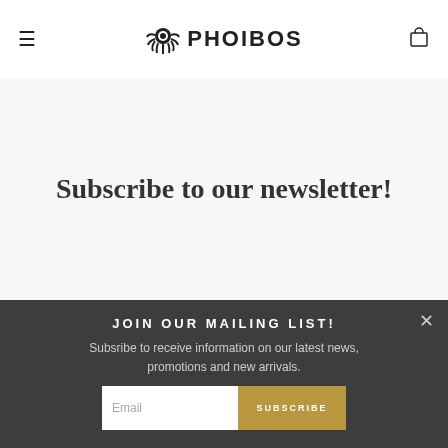PHOIBOS
Subscribe to our newsletter!
JOIN OUR MAILING LIST!
Subsribe to receive information on our latest news, promotions and new arrivals.